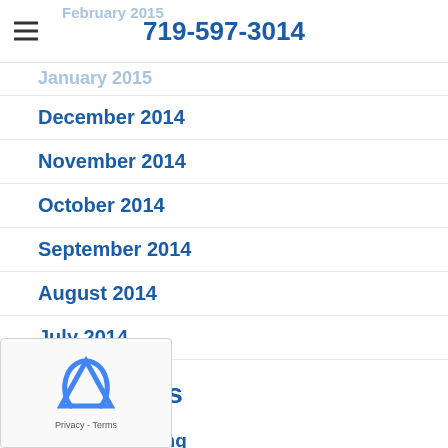719-597-3014
February 2015
January 2015
December 2014
November 2014
October 2014
September 2014
August 2014
July 2014
Categories
Air Conditioning
Commercial HVAC
Happy Holidays